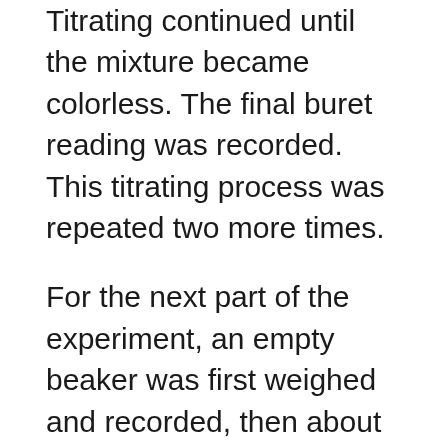Titrating continued until the mixture became colorless. The final buret reading was recorded. This titrating process was repeated two more times.
For the next part of the experiment, an empty beaker was first weighed and recorded, then about 0.5 mL of bleach was dispensed into it and the new mass of the beaker was recorded. The bleach was then poured into a clean 300 mL Erlenmeyer flask. The beaker was rinsed with distilled water to ensure all the bleach transferred to the Erlenmeyer flask. Then about 25 mL of distilled